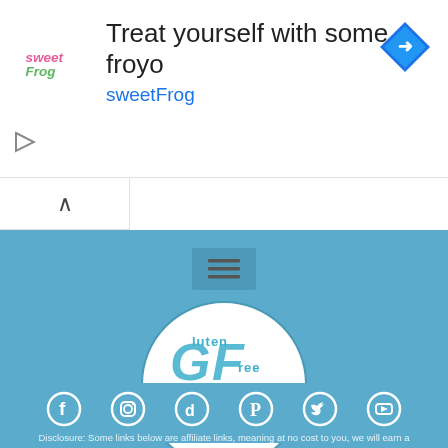[Figure (infographic): sweetFrog advertisement banner with logo, headline 'Treat yourself with some froyo', subtext 'sweetFrog', blue diamond arrow icon on right, play icon on lower left]
[Figure (logo): Gluten Free Journey circular logo with teal decorative letters GF and 'journey' in script, on blue background]
[Figure (infographic): Social media icons row: Facebook, Instagram, TikTok, Pinterest, Twitter, YouTube — white circle outlines on teal blue background]
Disclosure: Some links below are affiliate links, meaning at no cost to you, we will earn a